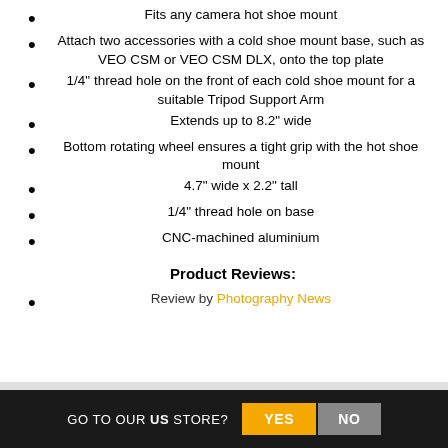Fits any camera hot shoe mount
Attach two accessories with a cold shoe mount base, such as VEO CSM or VEO CSM DLX, onto the top plate
1/4" thread hole on the front of each cold shoe mount for a suitable Tripod Support Arm
Extends up to 8.2" wide
Bottom rotating wheel ensures a tight grip with the hot shoe mount
4.7" wide x 2.2" tall
1/4" thread hole on base
CNC-machined aluminium
Product Reviews:
Review by Photography News
GO TO OUR US STORE? YES NO